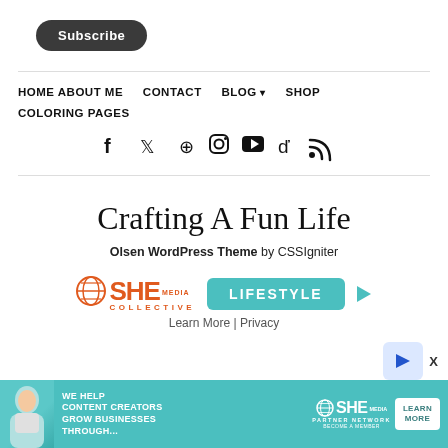Subscribe
HOME   ABOUT ME   CONTACT   BLOG ▾   SHOP   COLORING PAGES
[Figure (infographic): Social media icons row: Facebook, Twitter, Pinterest, Instagram, YouTube, TikTok, RSS]
Crafting A Fun Life
Olsen WordPress Theme by CSSIgniter
[Figure (infographic): SHE Media Collective Lifestyle advertisement badge with play icon, Learn More and Privacy links]
[Figure (infographic): SHE Media Partner Network banner advertisement: We help content creators grow businesses through... Learn More button]